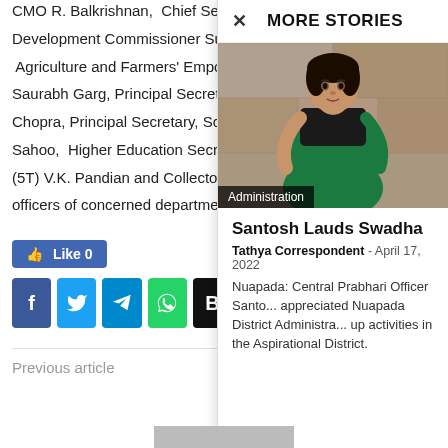CMO R. Balkrishnan, Chief Secr... Development Commissioner Sur... Agriculture and Farmers' Empow... Saurabh Garg, Principal Secreta... Chopra, Principal Secretary, Sch... Sahoo, Higher Education Secre... (5T) V.K. Pandian and Collectors... officers of concerned department...
Like 0
[Figure (other): Social share buttons: Facebook (blue), Twitter (light blue), Telegram (blue), WhatsApp (green), and one more black button]
Previous article
MORE STORIES
[Figure (photo): Photo of a woman in a green saree with black blouse, standing outdoors. Category tag 'Administration' overlaid at bottom.]
Santosh Lauds Swadha...
Tathya Correspondent - April 17, 2022
Nuapada: Central Prabhari Officer Santo... appreciated Nuapada District Administra... up activities in the Aspirational District.